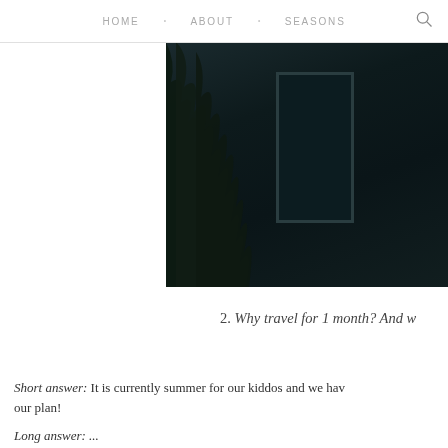HOME · ABOUT · SEASONS
[Figure (photo): Dark nighttime exterior photo showing tropical foliage silhouette on the left and a rectangular window or door frame on a dark teal wall]
2. Why travel for 1 month? And w
Short answer: It is currently summer for our kiddos and we hav our plan!
Long answer: ...